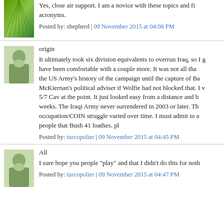Yes, close air support. I am a novice with these topics and find myself lost in acronyms.
Posted by: shepherd | 09 November 2015 at 04:08 PM
origin
It ultimately took six division equivalents to overrun Iraq, so I g have been comfortable with a couple more. It was not all tha the US Army's history of the campaign until the capture of Ba McKiernan's political adviser if Wolfie had not blocked that. I v 5/7 Cav at the point. It just looked easy from a distance and b weeks. The Iraqi Army never surrendered in 2003 or later. Th occupation/COIN struggle varied over time. I must admit to a people that Bush 41 loathes. pl
Posted by: turcopolier | 09 November 2015 at 04:45 PM
All
I sure hope you people "play" and that I didn't do this for noth
Posted by: turcopolier | 09 November 2015 at 04:47 PM